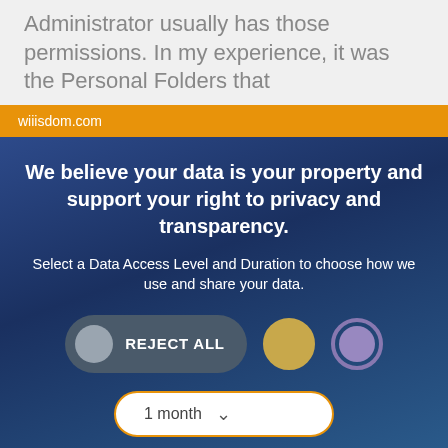Administrator usually has those permissions. In my experience, it was the Personal Folders that
wiiisdom.com
We believe your data is your property and support your right to privacy and transparency.
Select a Data Access Level and Duration to choose how we use and share your data.
REJECT ALL
1 month
Save my preferences
Customize
Privacy policy